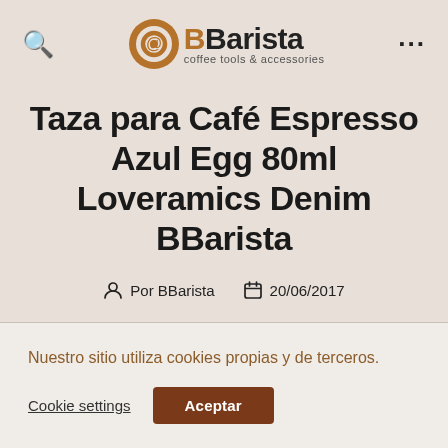BBarista coffee tools & accessories
Taza para Café Espresso Azul Egg 80ml Loveramics Denim BBarista
Por BBarista  20/06/2017
Nuestro sitio utiliza cookies propias y de terceros.
Cookie settings  Aceptar